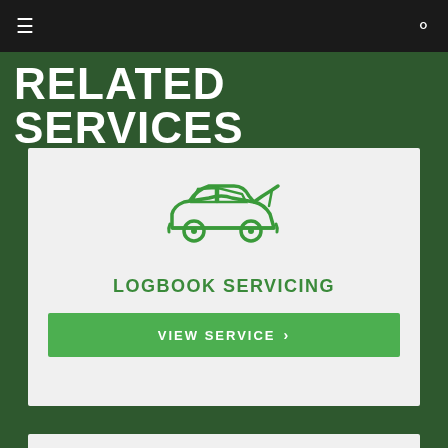☰  🔍
RELATED SERVICES
[Figure (illustration): Green outline icon of a car with hood open (logbook servicing icon)]
LOGBOOK SERVICING
VIEW SERVICE ›